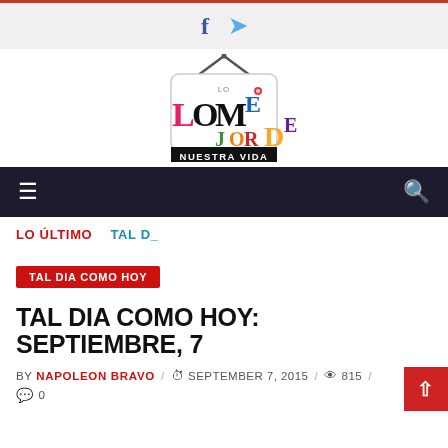Social bar with Facebook and Twitter icons
[Figure (logo): Lo Mejor De Nuestra Vida logo — stylized text with colorful letters and a TV antenna graphic above]
Navigation bar with hamburger menu and search icon
LO ÚLTIMO   TAL D_
TAL DIA COMO HOY
TAL DIA COMO HOY: SEPTIEMBRE, 7
BY NAPOLEON BRAVO / SEPTEMBER 7, 2015 / 815 / 0